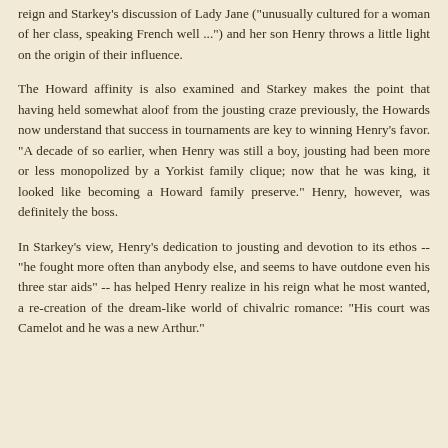reign and Starkey's discussion of Lady Jane ("unusually cultured for a woman of her class, speaking French well ...") and her son Henry throws a little light on the origin of their influence.
The Howard affinity is also examined and Starkey makes the point that having held somewhat aloof from the jousting craze previously, the Howards now understand that success in tournaments are key to winning Henry's favor. "A decade of so earlier, when Henry was still a boy, jousting had been more or less monopolized by a Yorkist family clique; now that he was king, it looked like becoming a Howard family preserve." Henry, however, was definitely the boss.
In Starkey's view, Henry's dedication to jousting and devotion to its ethos -- "he fought more often than anybody else, and seems to have outdone even his three star aids" -- has helped Henry realize in his reign what he most wanted, a re-creation of the dream-like world of chivalric romance: "His court was Camelot and he was a new Arthur."